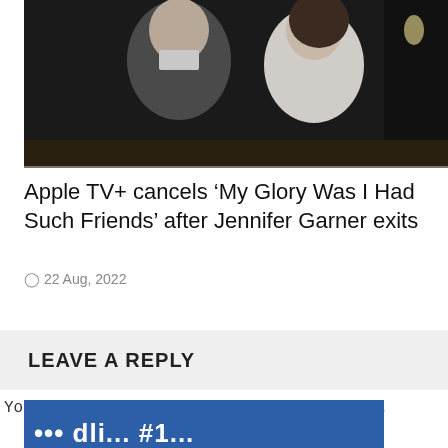[Figure (photo): Two people seated at an event, a man in a grey sweater and a woman in a light grey/cream top, smiling at the camera]
Apple TV+ cancels ‘My Glory Was I Had Such Friends’ after Jennifer Garner exits
22 Aug, 2022
LEAVE A REPLY
You must be logged in to post a comment.
[Figure (screenshot): Blue banner partially visible at bottom of page]